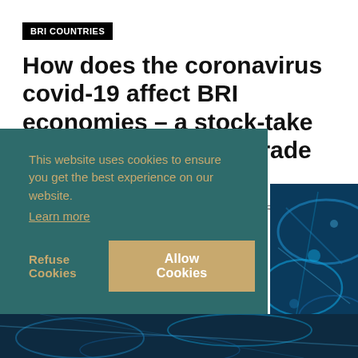BRI COUNTRIES
How does the coronavirus covid-19 affect BRI economies – a stock-take of local sentiments, trade and investments
BY CHRISTOPH NEDOPIL WANG AND YIWEI QI - FEBRUARY 25, 2020
[Figure (screenshot): Cookie consent banner overlay with teal/dark green background. Text reads: 'This website uses cookies to ensure you get the best experience on our website. Learn more'. Buttons: 'Refuse Cookies' and 'Allow Cookies' (golden/tan button).]
[Figure (photo): Close-up blue-toned microscopic or abstract network image visible at bottom right and bottom strip of page.]